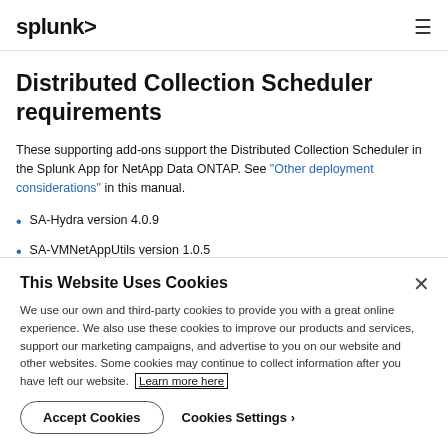splunk>
Distributed Collection Scheduler requirements
These supporting add-ons support the Distributed Collection Scheduler in the Splunk App for NetApp Data ONTAP. See "Other deployment considerations" in this manual.
SA-Hydra version 4.0.9
SA-VMNetAppUtils version 1.0.5
This Website Uses Cookies
We use our own and third-party cookies to provide you with a great online experience. We also use these cookies to improve our products and services, support our marketing campaigns, and advertise to you on our website and other websites. Some cookies may continue to collect information after you have left our website. Learn more here
Accept Cookies   Cookies Settings ›